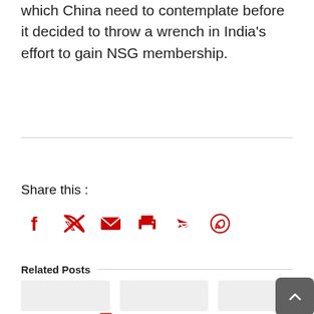which China need to contemplate before it decided to throw a wrench in India's effort to gain NSG membership.
[Figure (infographic): Print and PDF buttons, Share this label, and social media icons (Facebook, Twitter, Email, Print, Telegram, WhatsApp) in red]
Related Posts
[Figure (other): Three related post card placeholders (light gray rectangles) and a dark gray back-to-top button with upward chevron]